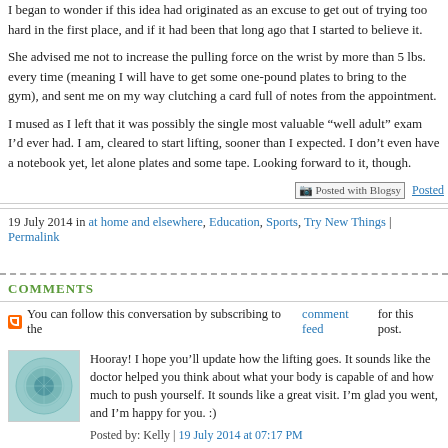I began to wonder if this idea had originated as an excuse to get out of trying too hard in the first place, and if it had been that long ago that I started to believe it.
She advised me not to increase the pulling force on the wrist by more than 5 lbs. every time (meaning I will have to get some one-pound plates to bring to the gym), and sent me on my way clutching a card full of notes from the appointment.
I mused as I left that it was possibly the single most valuable "well adult" exam I'd ever had. I am, cleared to start lifting, sooner than I expected. I don't even have a notebook yet, let alone plates and some tape. Looking forward to it, though.
[Figure (other): Posted with Blogsy button/badge]
19 July 2014 in at home and elsewhere, Education, Sports, Try New Things | Permalink
COMMENTS
You can follow this conversation by subscribing to the comment feed for this post.
[Figure (photo): Avatar image for commenter Kelly, teal/blue abstract pattern]
Hooray! I hope you'll update how the lifting goes. It sounds like the doctor helped you think about what your body is capable of and how much to push yourself. It sounds like a great visit. I'm glad you went, and I'm happy for you. :)
Posted by: Kelly | 19 July 2014 at 07:17 PM